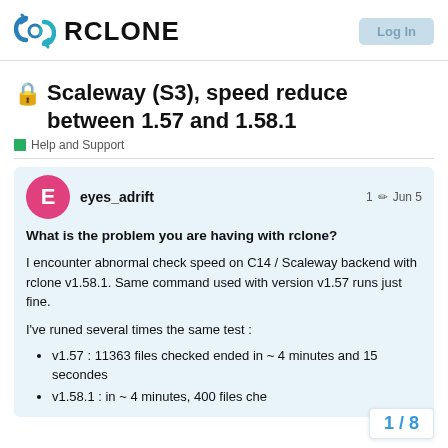RCLONE
🔒 Scaleway (S3), speed reduce between 1.57 and 1.58.1
Help and Support
eyes_adrift   1 ✏ Jun 5
What is the problem you are having with rclone?
I encounter abnormal check speed on C14 / Scaleway backend with rclone v1.58.1. Same command used with version v1.57 runs just fine.
I've runed several times the same test :
v1.57 : 11363 files checked ended in ~ 4 minutes and 15 secondes
v1.58.1 : in ~ 4 minutes, 400 files che
1 / 8